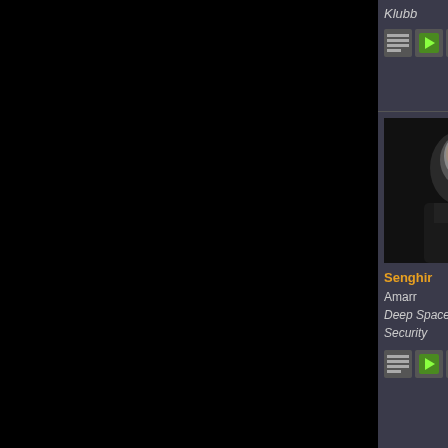Klubb
[Figure (illustration): Three small icon buttons in a row]
[Figure (photo): Avatar portrait of Senghir - bald figure in dark clothing]
Senghir
Amarr
Deep Space Security
[Figure (illustration): Three small icon buttons in a row]
Posted - 2009.06.25 15:31:00 - [4]
Think my Malediction petition is 3-4 days
Lost it outside a station.

Docking permission requested....

Shields gone.

Armour beginning to go.

Docking request accepted, your ship wil

Armour goes.

Structure begins to go.

Structure goes.

Then it docks my pod.

It's like it waited for me to be in the pod,
[Figure (photo): Avatar portrait of Decarus - older man in red outfit]
Decarus
Amarr
The R.I.T.U.A.L Corp
Intrepid
Posted - 2009.06.25 15:35:00 - [5]
Originally by: Senghir
Think my Malediction petition is
Lost it outside a station.

Docking permission requested...

Shields gone.